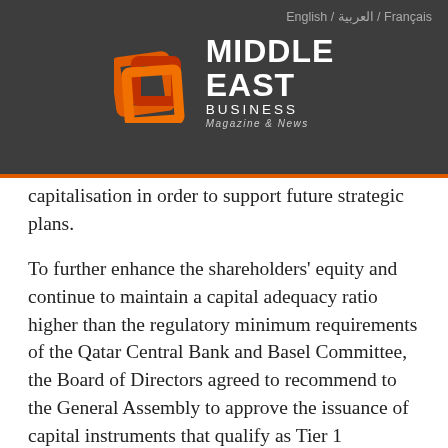English / العربية / Français
[Figure (logo): Middle East Business Magazine & News logo with orange and dark red nested square icon on dark grey background]
capitalisation in order to support future strategic plans.
To further enhance the shareholders' equity and continue to maintain a capital adequacy ratio higher than the regulatory minimum requirements of the Qatar Central Bank and Basel Committee, the Board of Directors agreed to recommend to the General Assembly to approve the issuance of capital instruments that qualify as Tier 1 additional capital and/or Tier 2 capital instruments in accordance with Qatar Central Bank and Basel Committee requirements, and authorise the Board of Directors to determine the size, timing, pricing and other related terms